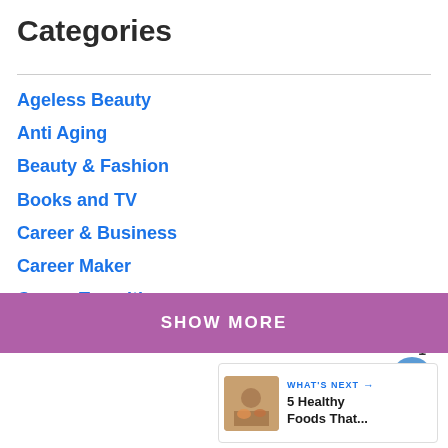Categories
Ageless Beauty
Anti Aging
Beauty & Fashion
Books and TV
Career & Business
Career Maker
Career Transition
Cruises
SHOW MORE
1
WHAT'S NEXT → 5 Healthy Foods That...